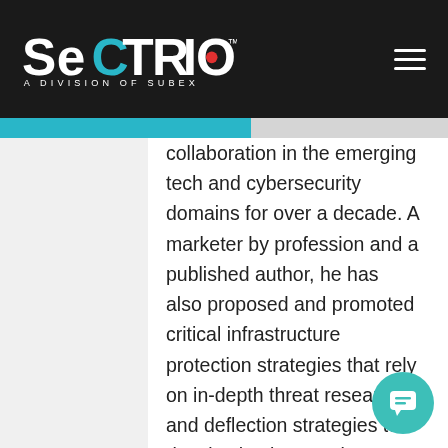[Figure (logo): Sectrio logo - white text on dark background with tagline 'A DIVISION OF SUBEX']
collaboration in the emerging tech and cybersecurity domains for over a decade. A marketer by profession and a published author, he has also proposed and promoted critical infrastructure protection strategies that rely on in-depth threat research and deflection strategies to deceive hackers and malware. Having been at the frontlines of cyber securing infrastructure, Prayukth has seen cyberattacks and defense tactics at